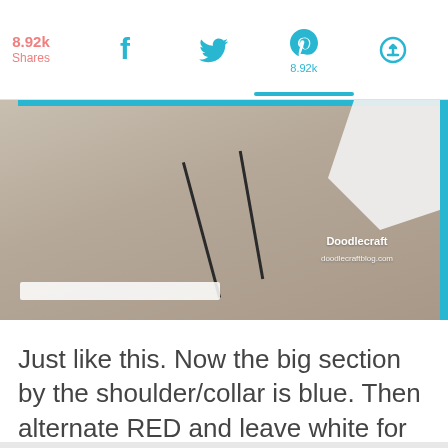8.92k Shares | Facebook | Twitter | Pinterest 8.92k | Other
[Figure (photo): Photo of a sandy/craft surface with diagonal dark sticks and white fabric, showing a DIY project in progress. Doodlecraft watermark visible.]
Just like this. Now the big section by the shoulder/collar is blue. Then alternate RED and leave white for the rest of the sections.